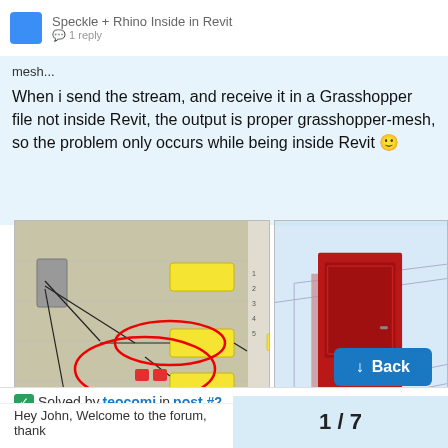Speckle + Rhino Inside in Revit
mesh...
When i send the stream, and receive it in a Grasshopper file not inside Revit, the output is proper grasshopper-mesh, so the problem only occurs while being inside Revit 🙂
[Figure (screenshot): Grasshopper node graph with yellow nodes and red circled connections]
[Figure (screenshot): 3D view of a red door in a Revit environment]
✅ Solved by teocomi in post #2
Hey John, Welcome to the forum, thank
1 / 7